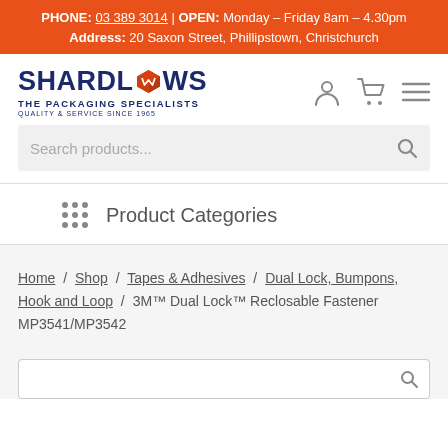PHONE: 03 389 3014 | OPEN: Monday – Friday 8am – 4.30pm Address: 20 Saxon Street, Phillipstown, Christchurch
[Figure (logo): Shardlows The Packaging Specialists logo with orange cube icon. Text: SHARDLOWS, THE PACKAGING SPECIALISTS, QUALITY & SERVICE SINCE 1965]
Search products...
Product Categories
Home / Shop / Tapes & Adhesives / Dual Lock, Bumpons, Hook and Loop / 3M™ Dual Lock™ Reclosable Fastener MP3541/MP3542